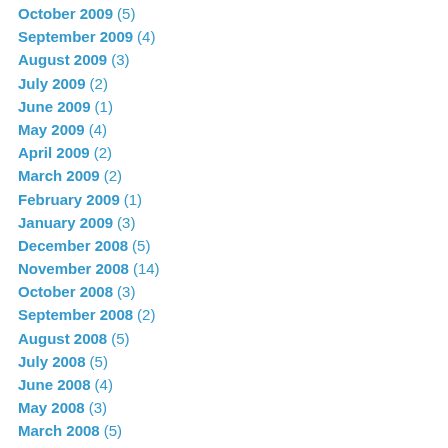October 2009 (5)
September 2009 (4)
August 2009 (3)
July 2009 (2)
June 2009 (1)
May 2009 (4)
April 2009 (2)
March 2009 (2)
February 2009 (1)
January 2009 (3)
December 2008 (5)
November 2008 (14)
October 2008 (3)
September 2008 (2)
August 2008 (5)
July 2008 (5)
June 2008 (4)
May 2008 (3)
March 2008 (5)
February 2008 (4)